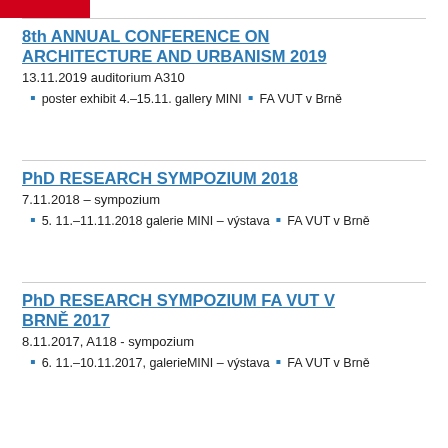8th ANNUAL CONFERENCE ON ARCHITECTURE AND URBANISM 2019
13.11.2019 auditorium A310
poster exhibit 4.–15.11. gallery MINI  •  FA VUT v Brně
PhD RESEARCH SYMPOZIUM 2018
7.11.2018 – sympozium
5. 11.–11.11.2018 galerie MINI – výstava  •  FA VUT v Brně
PhD RESEARCH SYMPOZIUM FA VUT V BRNĚ 2017
8.11.2017, A118 - sympozium
6. 11.–10.11.2017, galerieMINI – výstava  •  FA VUT v Brně